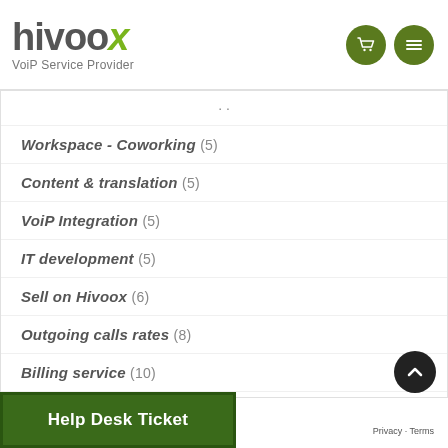[Figure (logo): Hivoox logo with text 'VoiP Service Provider' and two green icon buttons (cart and menu) in the top right]
Workspace - Coworking (5)
Content & translation (5)
VoiP Integration (5)
IT development (5)
Sell on Hivoox (6)
Outgoing calls rates (8)
Billing service (10)
The Telemarketing (11)
Virtual numbers (60)
Help Desk Ticket